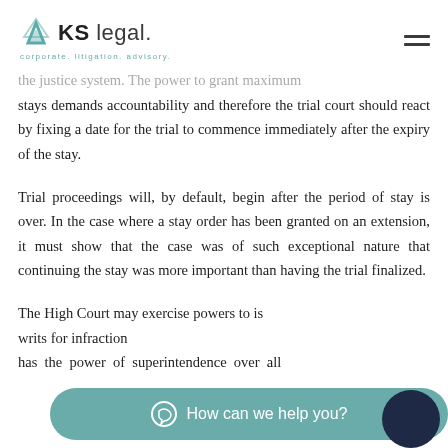KS legal. corporate. litigation. advisory.
the justice system. The power to grant maximum stays demands accountability and therefore the trial court should react by fixing a date for the trial to commence immediately after the expiry of the stay.
Trial proceedings will, by default, begin after the period of stay is over. In the case where a stay order has been granted on an extension, it must show that the case was of such exceptional nature that continuing the stay was more important than having the trial finalized.
The High Court may exercise powers to issue writs for infractions… has the power of superintendence over all